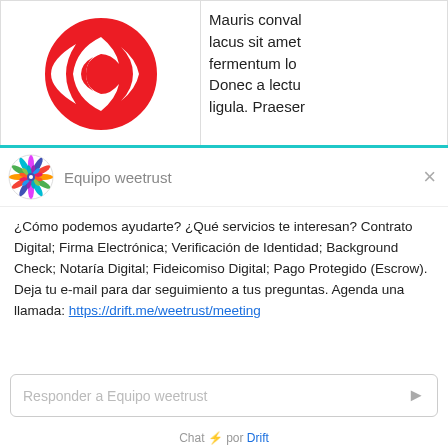[Figure (logo): Adobe Creative Cloud red logo - circular design with stylized CC letters on white background]
Mauris conval lacus sit amet fermentum lo Donec a lectu ligula. Praeser
[Figure (logo): Weetrust circular mandala/snowflake colorful logo]
Equipo weetrust
×
¿Cómo podemos ayudarte? ¿Qué servicios te interesan? Contrato Digital; Firma Electrónica; Verificación de Identidad; Background Check; Notaría Digital; Fideicomiso Digital; Pago Protegido (Escrow).
Deja tu e-mail para dar seguimiento a tus preguntas. Agenda una llamada: https://drift.me/weetrust/meeting
Responder a Equipo weetrust
Chat ⚡ por Drift